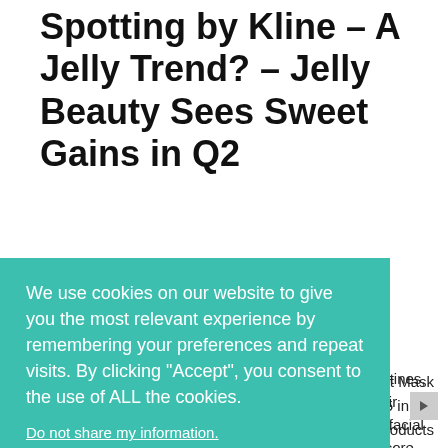Spotting by Kline – A Jelly Trend? – Jelly Beauty Sees Sweet Gains in Q2
Posted on August 21, 2018   by Kline Team
As consumers continue to integrate facial masks, [are routines,] [their] [he facial] [r score and] [a new]
[Figure (other): Cookie consent banner overlay with teal background. Text: 'We use cookies on our website to give you the most relevant experience by remembering your preferences and repeat visits. By clicking "Accept", you consent to the use of ALL the cookies.' Link: 'Do not share my information.' Buttons: 'Cookie Settings' and 'Accept'.]
ght Mask g #465 in the like products Q3 due to uch as Moon Juice Beauty Shroom Plumping Jelly Serum, Glow